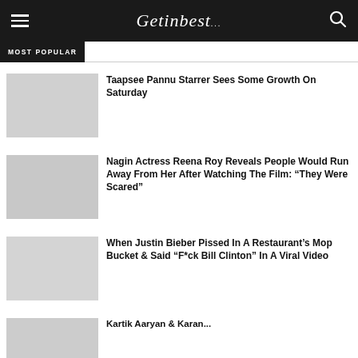Getinbest
MOST POPULAR
Taapsee Pannu Starrer Sees Some Growth On Saturday
Nagin Actress Reena Roy Reveals People Would Run Away From Her After Watching The Film: “They Were Scared”
When Justin Bieber Pissed In A Restaurant’s Mop Bucket & Said “F*ck Bill Clinton” In A Viral Video
Kartik Aaryan...